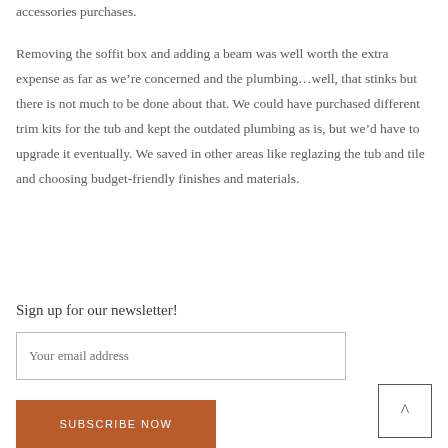accessories purchases.
Removing the soffit box and adding a beam was well worth the extra expense as far as we’re concerned and the plumbing…well, that stinks but there is not much to be done about that. We could have purchased different trim kits for the tub and kept the outdated plumbing as is, but we’d have to upgrade it eventually. We saved in other areas like reglazing the tub and tile and choosing budget-friendly finishes and materials.
Sign up for our newsletter!
Your email address
SUBSCRIBE NOW